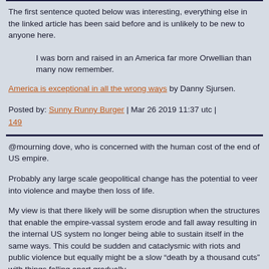The first sentence quoted below was interesting, everything else in the linked article has been said before and is unlikely to be new to anyone here.
I was born and raised in an America far more Orwellian than many now remember.
America is exceptional in all the wrong ways by Danny Sjursen.
Posted by: Sunny Runny Burger | Mar 26 2019 11:37 utc | 149
@mourning dove, who is concerned with the human cost of the end of US empire.
Probably any large scale geopolitical change has the potential to veer into violence and maybe then loss of life.
My view is that there likely will be some disruption when the structures that enable the empire-vassal system erode and fall away resulting in the internal US system no longer being able to sustain itself in the same ways. This could be sudden and cataclysmic with riots and public violence but equally might be a slow “death by a thousand cuts” with things falling apart gradually.